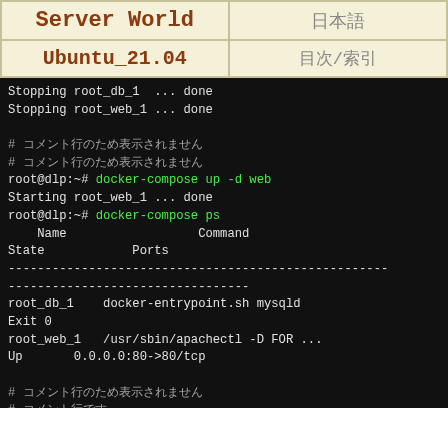| Server World | 日本語 |
| --- | --- |
| Ubuntu_21.04 | 目次/索引 |
Stopping root_db_1 ... done
Stopping root_web_1 ... done

# コメント行1
# コメント行2
root@dlp:~# docker-compose up -d web
Starting root_web_1 ... done
root@dlp:~# docker-compose ps
    Name                 Command              State         Ports
--------------------------------------------------------------------
root_db_1    docker-entrypoint.sh mysqld
Exit 0
root_web_1   /usr/sbin/apachectl -D FOR ...
Up       0.0.0.0:80->80/tcp

# コメント行3
# コメント行4